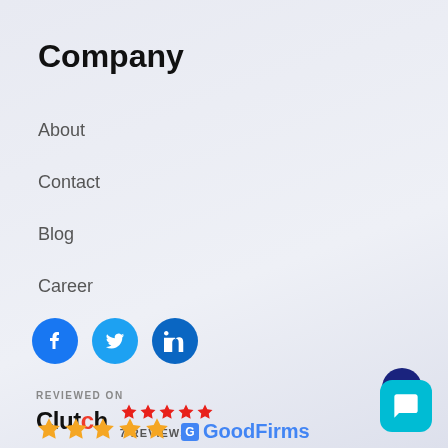Company
About
Contact
Blog
Career
[Figure (infographic): Social media icons: Facebook, Twitter, LinkedIn (blue circular icons)]
[Figure (infographic): Clutch review badge: 'REVIEWED ON' label, 5 red stars, 'Clutch' logo, '7 REVIEWS' text]
[Figure (infographic): GoodFirms badge: 5 gold stars and GoodFirms logo in blue]
[Figure (infographic): Chat widget: dark blue circle and cyan rounded square with speech bubble icon]